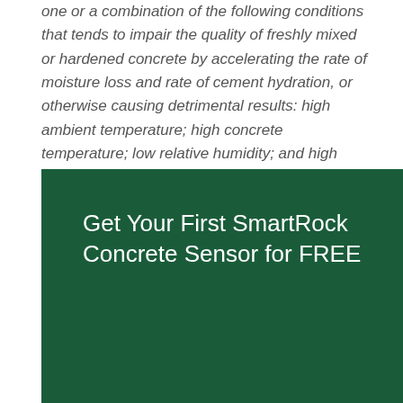one or a combination of the following conditions that tends to impair the quality of freshly mixed or hardened concrete by accelerating the rate of moisture loss and rate of cement hydration, or otherwise causing detrimental results: high ambient temperature; high concrete temperature; low relative humidity; and high wind speed."
[Figure (infographic): Dark green promotional banner with white text reading 'Get Your First SmartRock Concrete Sensor for FREE']